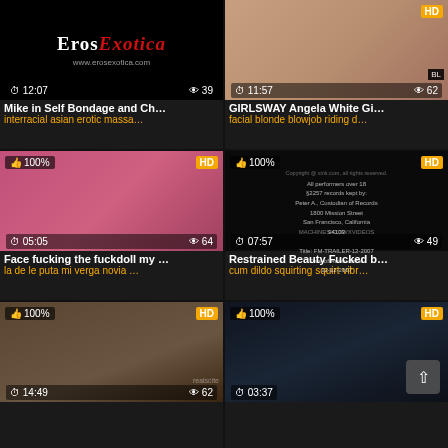[Figure (screenshot): Video thumbnail 1: ErosExotica logo on black background. Duration 12:07, views 39. Title: Mike in Self Bondage and Ch... Tags: interracial asian erotic massa...]
[Figure (screenshot): Video thumbnail 2: Blonde woman. HD badge. Duration 11:57, views 62. BL badge. Title: GIRLSWAY Angela White Gi... Tags: facial blonde blowjob riding d...]
[Figure (screenshot): Video thumbnail 3: Pink/colorful scene. 100% like, HD badge. Duration 05:05, views 64. Title: Face fucking the fuckdoll my ... Tags: la de le puta mi verga novia ...]
[Figure (screenshot): Video thumbnail 4: Black screen with legal text about 2257 records. 100% like, HD badge. Duration 07:57, views 49. Title: Restrained Beauty Fucked b... Tags: cum dildo squirting squirt vibr...]
[Figure (screenshot): Video thumbnail 5: Woman standing in room. 100% like, HD badge. Duration 14:49, views 62. realscite watermark.]
[Figure (screenshot): Video thumbnail 6: Dark scene. 100% like, HD badge. Duration 03:37. Scroll-to-top button visible.]